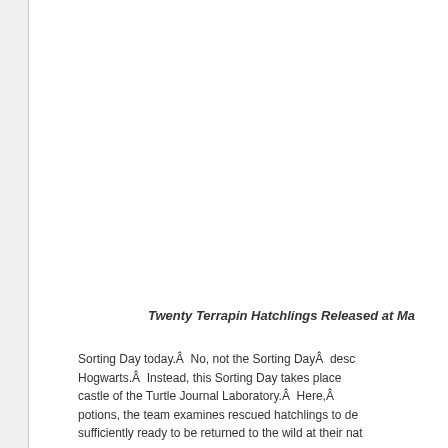Twenty Terrapin Hatchlings Released at Ma...
Sorting Day today.Â  No, not the Sorting DayÂ  desc... Hogwarts.Â  Instead, this Sorting Day takes place ... castle of the Turtle Journal Laboratory.Â  Here,Â  potions, the team examines rescued hatchlings to de... sufficiently ready to be returned to the wild at their nat...